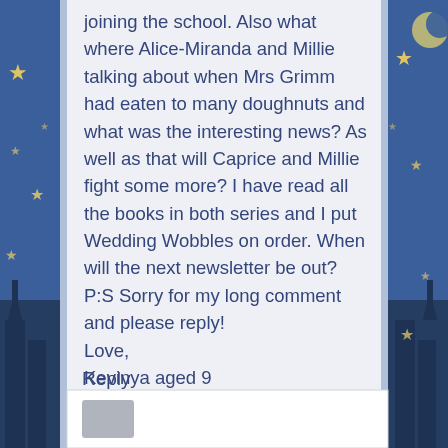joining the school. Also what where Alice-Miranda and Millie talking about when Mrs Grimm had eaten to many doughnuts and what was the interesting news? As well as that will Caprice and Millie fight some more? I have read all the books in both series and I put Wedding Wobbles on order. When will the next newsletter be out?
P:S Sorry for my long comment and please reply!
Love,
Kevinya aged 9
Reply